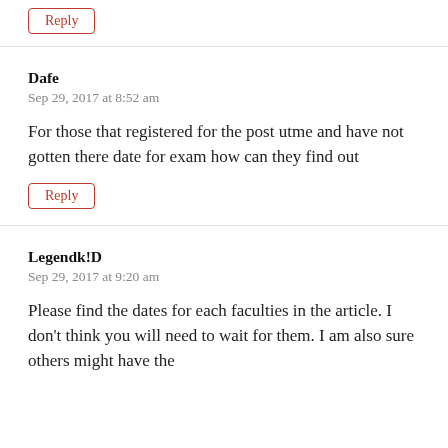Reply
Dafe
Sep 29, 2017 at 8:52 am
For those that registered for the post utme and have not gotten there date for exam how can they find out
Reply
Legendk!D
Sep 29, 2017 at 9:20 am
Please find the dates for each faculties in the article. I don't think you will need to wait for them. I am also sure others might have the